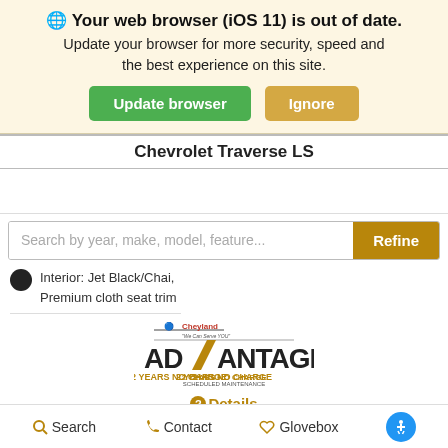🌐 Your web browser (iOS 11) is out of date. Update your browser for more security, speed and the best experience on this site. [Update browser] [Ignore]
Chevrolet Traverse LS
Search by year, make, model, feature... [Refine]
Interior: Jet Black/Chai, Premium cloth seat trim
[Figure (logo): Chevyland ADVANTAGE 2 YEARS NO CHARGE SCHEDULED MAINTENANCE logo]
❷ Details
Chat With Us    Price  $36,405   Please call for price
Search   Contact   Glovebox   [Accessibility icon]